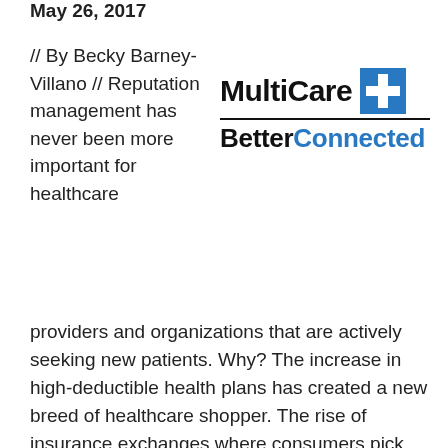May 26, 2017
// By Becky Barney-Villano // Reputation management has never been more important for healthcare
[Figure (logo): MultiCare BetterConnected logo with blue cross icon]
providers and organizations that are actively seeking new patients. Why? The increase in high-deductible health plans has created a new breed of healthcare shopper. The rise of insurance exchanges where consumers pick their plans has resulted in more robust and careful